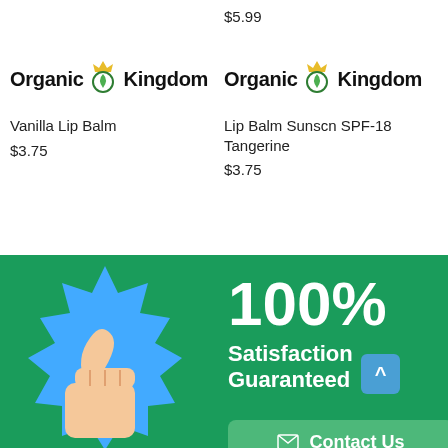$5.99
[Figure (logo): Organic Kingdom logo - left product]
Vanilla Lip Balm
$3.75
[Figure (logo): Organic Kingdom logo - right product]
Lip Balm Sunscn SPF-18 Tangerine
$3.75
[Figure (illustration): Blue starburst badge with thumbs up icon]
100%
Satisfaction Guaranteed
Contact Us